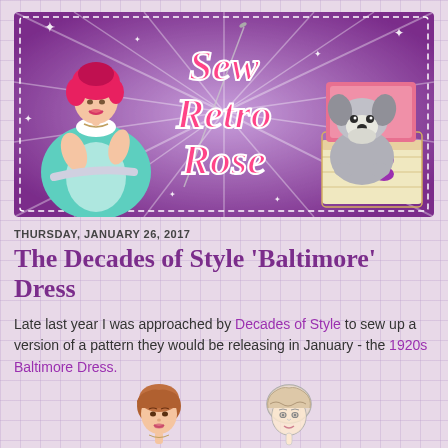[Figure (illustration): Sew Retro Rose blog banner with illustrated retro woman sewing on the left, decorative script logo 'Sew Retro Rose' in center on purple starburst background, and illustrated schnauzer dog with sewing supplies on the right. Purple background with sparkles and dashed border.]
THURSDAY, JANUARY 26, 2017
The Decades of Style 'Baltimore' Dress
Late last year I was approached by Decades of Style to sew up a version of a pattern they would be releasing in January - the 1920s Baltimore Dress.
[Figure (illustration): Two small fashion illustration head sketches of women with 1920s hairstyles]